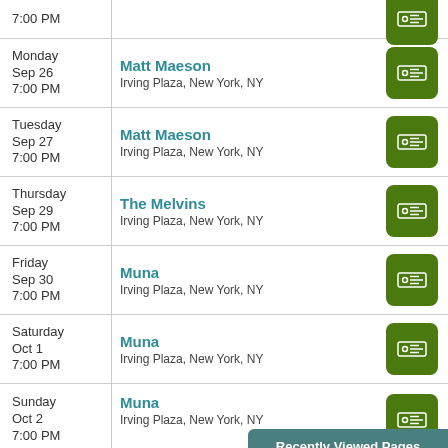7:00 PM | (partial row at top)
Monday Sep 26 7:00 PM | Matt Maeson | Irving Plaza, New York, NY
Tuesday Sep 27 7:00 PM | Matt Maeson | Irving Plaza, New York, NY
Thursday Sep 29 7:00 PM | The Melvins | Irving Plaza, New York, NY
Friday Sep 30 7:00 PM | Muna | Irving Plaza, New York, NY
Saturday Oct 1 7:00 PM | Muna | Irving Plaza, New York, NY
Sunday Oct 2 7:00 PM | Muna | Irving Plaza, New York, NY
Recently Viewed Pages